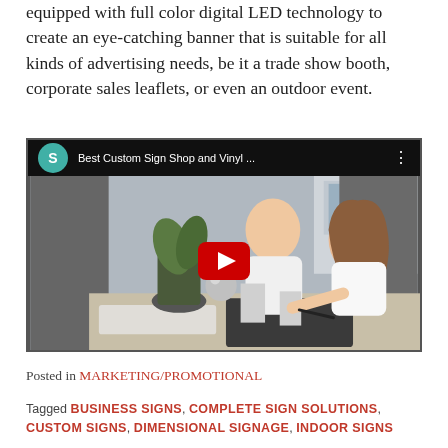equipped with full color digital LED technology to create an eye-catching banner that is suitable for all kinds of advertising needs, be it a trade show booth, corporate sales leaflets, or even an outdoor event.
[Figure (screenshot): YouTube video embed showing two people working at a desk, with a play button overlay. Video title: 'Best Custom Sign Shop and Vinyl ...' with a teal channel icon showing 'S'.]
Posted in MARKETING/PROMOTIONAL
Tagged BUSINESS SIGNS, COMPLETE SIGN SOLUTIONS, CUSTOM SIGNS, DIMENSIONAL SIGNAGE, INDOOR SIGNS